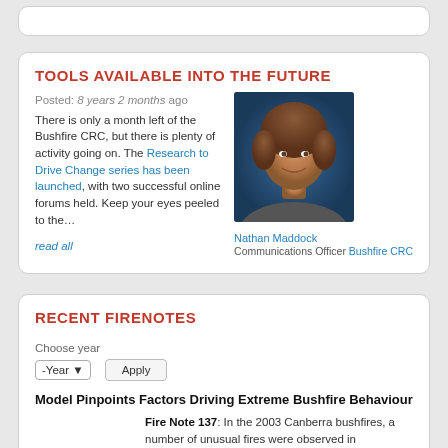TOOLS AVAILABLE INTO THE FUTURE
Posted: 8 years 2 months ago There is only a month left of the Bushfire CRC, but there is plenty of activity going on. The Research to Drive Change series has been launched, with two successful online forums held. Keep your eyes peeled to the...
[Figure (photo): Headshot photo of Nathan Maddock, Communications Officer at Bushfire CRC]
Nathan Maddock
Communications Officer Bushfire CRC
read all
RECENT FIRENOTES
Choose year
Model Pinpoints Factors Driving Extreme Bushfire Behaviour
Fire Note 137: In the 2003 Canberra bushfires, a number of unusual fires were observed in